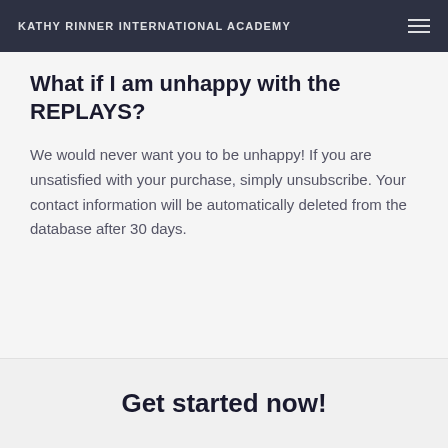KATHY RINNER INTERNATIONAL ACADEMY
What if I am unhappy with the REPLAYS?
We would never want you to be unhappy! If you are unsatisfied with your purchase, simply unsubscribe. Your contact information will be automatically deleted from the database after 30 days.
Get started now!